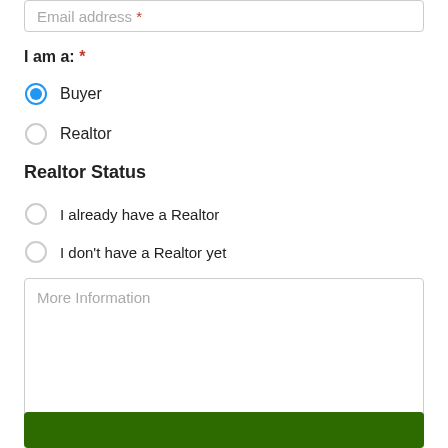Email address *
I am a: *
Buyer (selected)
Realtor
Realtor Status
I already have a Realtor
I don't have a Realtor yet
More Information